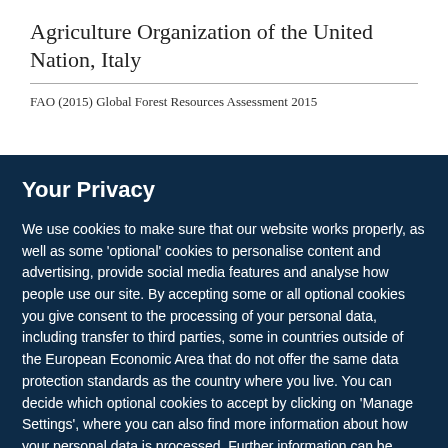Agriculture Organization of the United Nation, Italy
FAO (2015) Global Forest Resources Assessment 2015
Your Privacy
We use cookies to make sure that our website works properly, as well as some 'optional' cookies to personalise content and advertising, provide social media features and analyse how people use our site. By accepting some or all optional cookies you give consent to the processing of your personal data, including transfer to third parties, some in countries outside of the European Economic Area that do not offer the same data protection standards as the country where you live. You can decide which optional cookies to accept by clicking on 'Manage Settings', where you can also find more information about how your personal data is processed. Further information can be found in our privacy policy.
Accept all cookies
Manage preferences